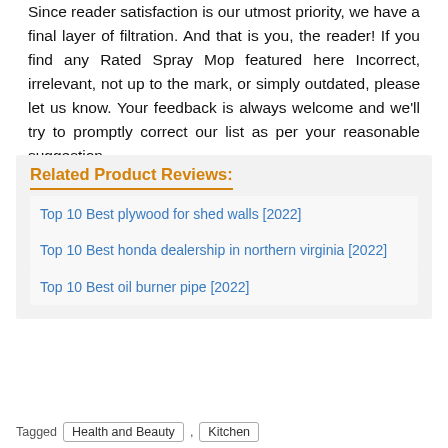Since reader satisfaction is our utmost priority, we have a final layer of filtration. And that is you, the reader! If you find any Rated Spray Mop featured here Incorrect, irrelevant, not up to the mark, or simply outdated, please let us know. Your feedback is always welcome and we'll try to promptly correct our list as per your reasonable suggestion.
Related Product Reviews:
Top 10 Best plywood for shed walls [2022]
Top 10 Best honda dealership in northern virginia [2022]
Top 10 Best oil burner pipe [2022]
Tagged   Health and Beauty  ,  Kitchen